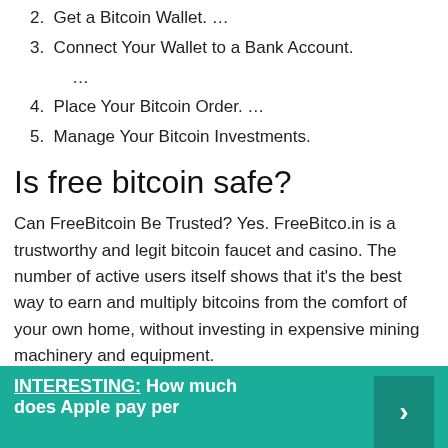2. Get a Bitcoin Wallet. …
3. Connect Your Wallet to a Bank Account. …
4. Place Your Bitcoin Order. …
5. Manage Your Bitcoin Investments.
Is free bitcoin safe?
Can FreeBitcoin Be Trusted? Yes. FreeBitco.in is a trustworthy and legit bitcoin faucet and casino. The number of active users itself shows that it's the best way to earn and multiply bitcoins from the comfort of your own home, without investing in expensive mining machinery and equipment.
INTERESTING:  How much does Apple pay per…